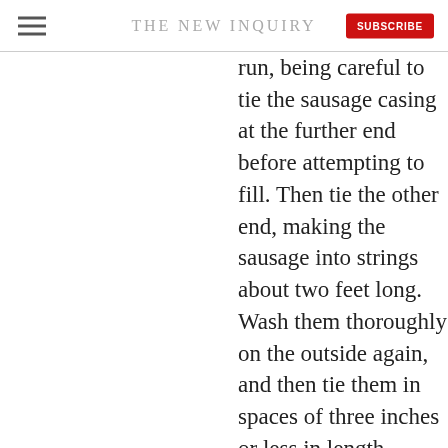THE NEW INQUIRY
run, being careful to tie the sausage casing at the further end before attempting to fill. Then tie the other end, making the sausage into strings about two feet long. Wash them thoroughly on the outside again, and then tie them in spaces of three inches or less in length